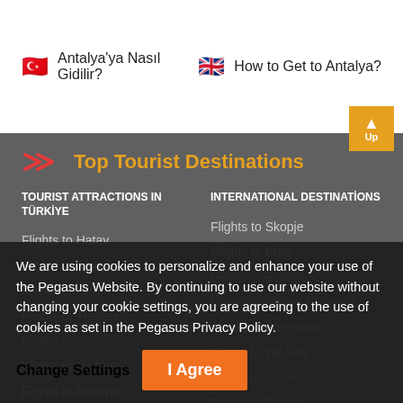🇹🇷 Antalya'ya Nasıl Gidilir?
🇬🇧 How to Get to Antalya?
Top Tourist Destinations
TOURIST ATTRACTIONS IN TÜRKİYE
INTERNATIONAL DESTINATİONS
Flights to Hatay
Flights to Alanya
Flights to Urfa
Flights to Trabzon
Flights to Dalaman
Flights to Bodrum
Flights to Antalya
Flights to Skopje
Flights to Prag
Flights to Budapest
Flights to Sharm El Sheikh
Flights to Barcelona
Flights to Tel Aviv
Flights to Bucharest
Flights to Dubai
We are using cookies to personalize and enhance your use of the Pegasus Website. By continuing to use our website without changing your cookie settings, you are agreeing to the use of cookies as set in the Pegasus Privacy Policy.
Change Settings
I Agree